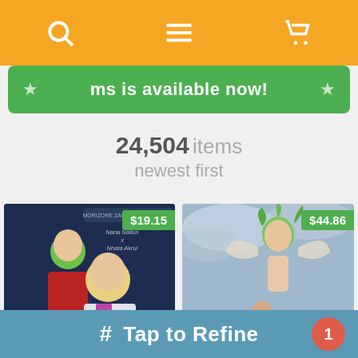Navigation bar with search, menu, and cart icons
ms is available now!
24,504 items
newest first
[Figure (photo): Manga book cover 'libido' showing anime characters, price $19.15]
[Figure (photo): Manga book cover showing anime angel characters, price $44.86]
# Tap to Refine  1